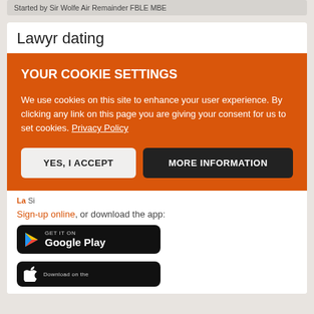Started by Sir Wolfe Air Remainder FBLE MBE
Lawyr dating
[Figure (screenshot): Cookie consent overlay on orange background with title 'YOUR COOKIE SETTINGS', body text about cookies and privacy policy, two buttons: 'YES, I ACCEPT' (light) and 'MORE INFORMATION' (dark)]
Sign-up online, or download the app:
[Figure (screenshot): Google Play store badge - black rounded rectangle with Google Play logo and text 'GET IT ON Google Play']
[Figure (screenshot): Apple App Store badge - black rounded rectangle with Apple logo and text 'Download on the']